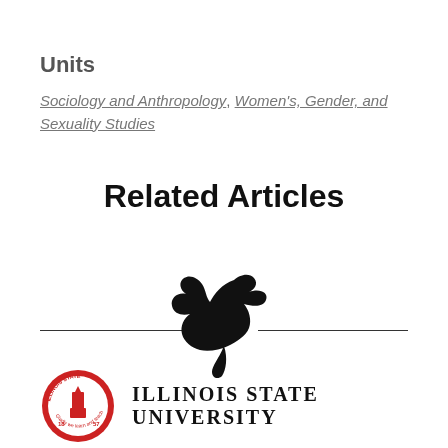Units
Sociology and Anthropology, Women's, Gender, and Sexuality Studies
Related Articles
[Figure (logo): Illinois State University Redbird mascot silhouette (black bird) centered between two horizontal lines]
[Figure (logo): Illinois State University seal (red circular seal with torch and text '1857') alongside text 'ILLINOIS STATE UNIVERSITY']